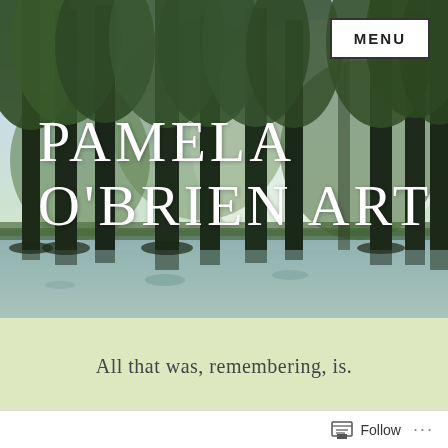[Figure (illustration): Painting of cypress or tall trees reflected in a swamp/bayou, with blue-green sky, dark tree trunks, lush green foliage, painterly style]
PAMELA O'BRIEN ART
MENU
All that was, remembering, is.
Tag: beach
Follow ...